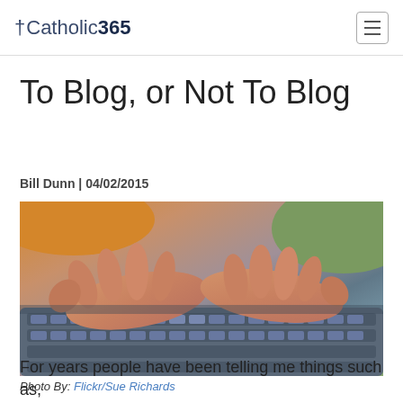†Catholic365
To Blog, or Not To Blog
Bill Dunn | 04/02/2015
[Figure (photo): Close-up photograph of two hands typing on a laptop keyboard. The person is wearing an orange shirt and there is a green cushion visible in the background. The keyboard appears to be a silver/grey laptop keyboard.]
Photo By: Flickr/Sue Richards
For years people have been telling me things such as,